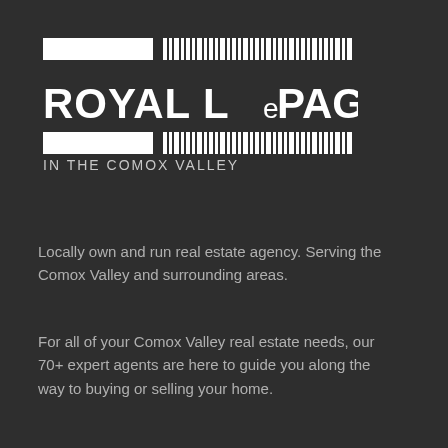[Figure (logo): Royal LePage logo with horizontal barcode-style stripes and bold text reading ROYAL LePAGE, followed by text IN THE COMOX VALLEY]
Locally own and run real estate agency. Serving the Comox Valley and surrounding areas.
For all of your Comox Valley real estate needs, our 70+ expert agents are here to guide you along the way to buying or selling your home.
Navigation
Home
Our Listings